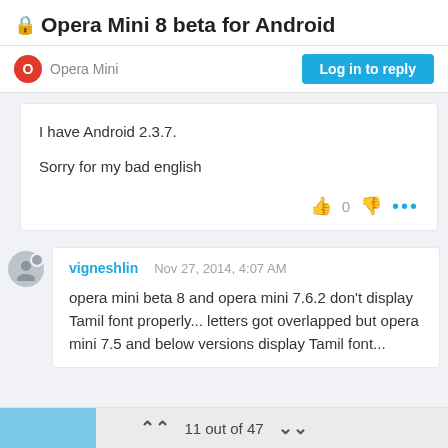Opera Mini 8 beta for Android
Opera Mini
Log in to reply
I have Android 2.3.7.

Sorry for my bad english
vigneshlin   Nov 27, 2014, 4:07 AM

opera mini beta 8 and opera mini 7.6.2 don't display Tamil font properly... letters got overlapped but opera mini 7.5 and below versions display Tamil font...
11 out of 47